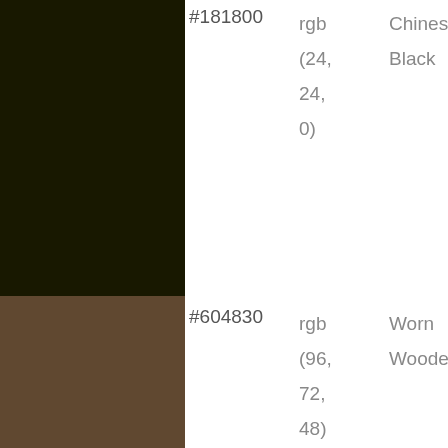| Swatch | Hex | RGB | Name |
| --- | --- | --- | --- |
|  | #181800 | rgb(24, 24, 0) | Chinese Black |
|  | #604830 | rgb(96, 72, 48) | Worn Wooden |
|  | #c0a878 | rgb(192, 168, 120) | Medallion |
|  | #906048 | rgb | Weathered |